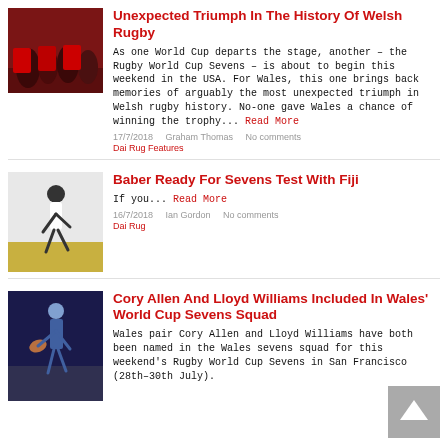Unexpected Triumph In The History Of Welsh Rugby
As one World Cup departs the stage, another – the Rugby World Cup Sevens – is about to begin this weekend in the USA. For Wales, this one brings back memories of arguably the most unexpected triumph in Welsh rugby history. No-one gave Wales a chance of winning the trophy... Read More
17/7/2018   Graham Thomas   No comments
Dai Rug Features
Baber Ready For Sevens Test With Fiji
If you... Read More
16/7/2018   Ian Gordon   No comments
Dai Rug
Cory Allen And Lloyd Williams Included In Wales' World Cup Sevens Squad
Wales pair Cory Allen and Lloyd Williams have both been named in the Wales sevens squad for this weekend's Rugby World Cup Sevens in San Francisco (28th–30th July).